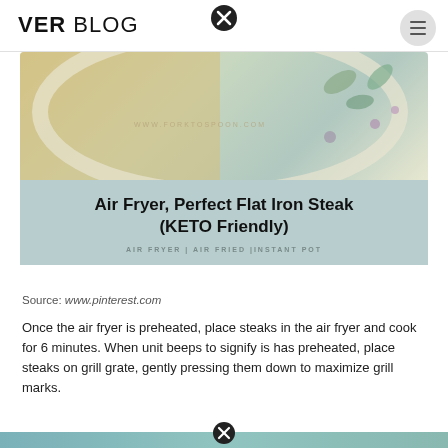VER BLOG
[Figure (photo): Food blog article image showing a dish with floral decorative elements and watermark www.forktospoon.com, overlaid with a teal/mint colored box containing the article title and category tags]
Air Fryer, Perfect Flat Iron Steak (KETO Friendly)
AIR FRYER | AIR FRIED |INSTANT POT
Source: www.pinterest.com
Once the air fryer is preheated, place steaks in the air fryer and cook for 6 minutes. When unit beeps to signify is has preheated, place steaks on grill grate, gently pressing them down to maximize grill marks.
[Figure (photo): Partial view of another food photo at the bottom of the page]